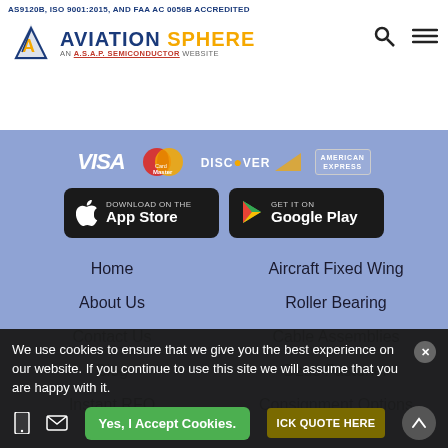AS9120B, ISO 9001:2015, AND FAA AC 0056B ACCREDITED
[Figure (logo): Aviation Sphere logo - triangle icon with AVIATION SPHERE text and AN A.S.A.P SEMICONDUCTOR WEBSITE subtitle]
[Figure (infographic): Payment method logos: VISA, MasterCard, Discover, American Express]
[Figure (infographic): App store download buttons: Download on the App Store (Apple) and GET IT ON Google Play]
Home
Aircraft Fixed Wing
About Us
Roller Bearing
Contact Us
Cable Assemblies
Blog
Dzus Fastener
Instant RFQ
Consignment Options
We use cookies to ensure that we give you the best experience on our website. If you continue to use this site we will assume that you are happy with it.
Yes, I Accept Cookies.